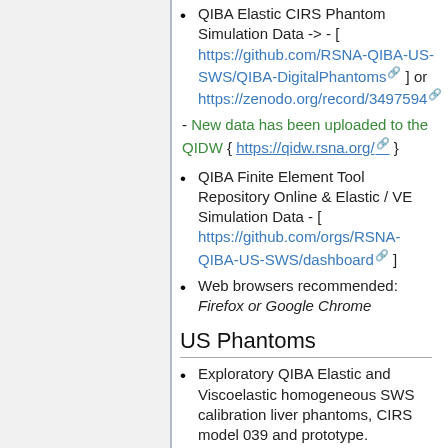QIBA Elastic CIRS Phantom Simulation Data -> - [ https://github.com/RSNA-QIBA-US-SWS/QIBA-DigitalPhantoms ] or https://zenodo.org/record/3497594
- New data has been uploaded to the QIDW { https://qidw.rsna.org/ }
QIBA Finite Element Tool Repository Online & Elastic / VE Simulation Data - [ https://github.com/orgs/RSNA-QIBA-US-SWS/dashboard ]
Web browsers recommended: Firefox or Google Chrome
US Phantoms
Exploratory QIBA Elastic and Viscoelastic homogeneous SWS calibration liver phantoms, CIRS model 039 and prototype.